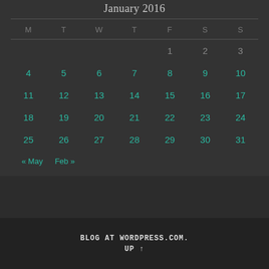January 2016
| M | T | W | T | F | S | S |
| --- | --- | --- | --- | --- | --- | --- |
|  |  |  |  | 1 | 2 | 3 |
| 4 | 5 | 6 | 7 | 8 | 9 | 10 |
| 11 | 12 | 13 | 14 | 15 | 16 | 17 |
| 18 | 19 | 20 | 21 | 22 | 23 | 24 |
| 25 | 26 | 27 | 28 | 29 | 30 | 31 |
« May
Feb »
BLOG AT WORDPRESS.COM. UP ↑